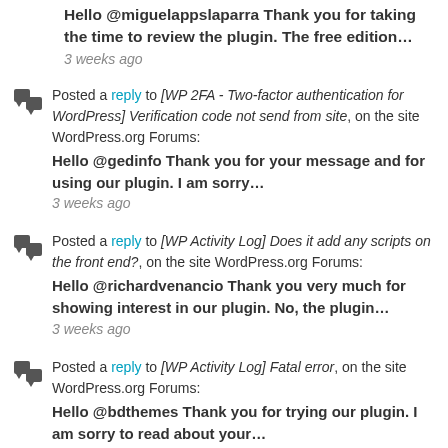Hello @miguelappslaparra Thank you for taking the time to review the plugin. The free edition…
3 weeks ago
Posted a reply to [WP 2FA - Two-factor authentication for WordPress] Verification code not send from site, on the site WordPress.org Forums: Hello @gedinfo Thank you for your message and for using our plugin. I am sorry…
3 weeks ago
Posted a reply to [WP Activity Log] Does it add any scripts on the front end?, on the site WordPress.org Forums: Hello @richardvenancio Thank you very much for showing interest in our plugin. No, the plugin…
3 weeks ago
Posted a reply to [WP Activity Log] Fatal error, on the site WordPress.org Forums: Hello @bdthemes Thank you for trying our plugin. I am sorry to read about your…
3 weeks ago